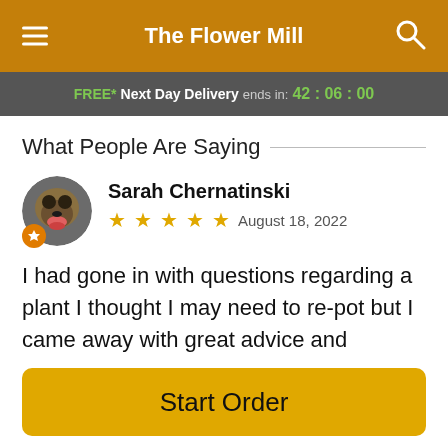The Flower Mill
FREE* Next Day Delivery ends in: 42:06:00
What People Are Saying
Sarah Chernatinski
★★★★★ August 18, 2022
I had gone in with questions regarding a plant I thought I may need to re-pot but I came away with great advice and reassurance from the staff. When you walk in, you are overwhelmed with the scent of plants and flowers and I found it rather enchanting. There are so many fantastic plants and arrangements to purchase! I do recommend
Start Order